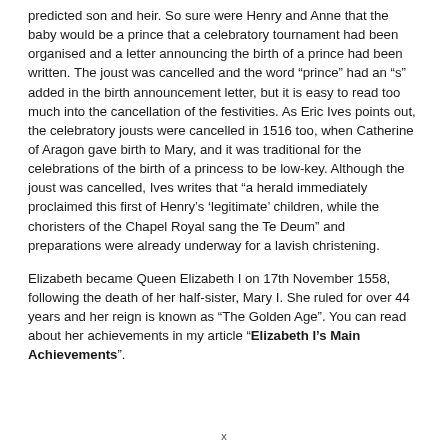predicted son and heir. So sure were Henry and Anne that the baby would be a prince that a celebratory tournament had been organised and a letter announcing the birth of a prince had been written. The joust was cancelled and the word “prince” had an “s” added in the birth announcement letter, but it is easy to read too much into the cancellation of the festivities. As Eric Ives points out, the celebratory jousts were cancelled in 1516 too, when Catherine of Aragon gave birth to Mary, and it was traditional for the celebrations of the birth of a princess to be low-key. Although the joust was cancelled, Ives writes that “a herald immediately proclaimed this first of Henry’s ‘legitimate’ children, while the choristers of the Chapel Royal sang the Te Deum” and preparations were already underway for a lavish christening.
Elizabeth became Queen Elizabeth I on 17th November 1558, following the death of her half-sister, Mary I. She ruled for over 44 years and her reign is known as “The Golden Age”. You can read about her achievements in my article “Elizabeth I’s Main Achievements”.
x